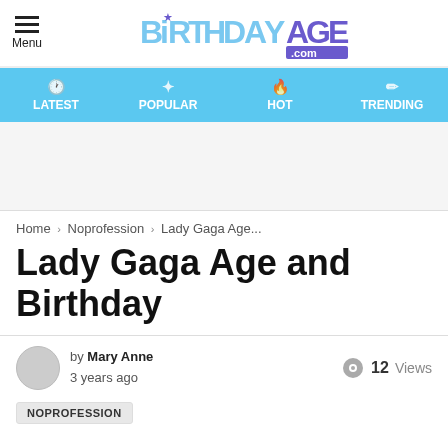BirthdayAge.com
LATEST | POPULAR | HOT | TRENDING
Home › Noprofession › Lady Gaga Age...
Lady Gaga Age and Birthday
by Mary Anne 3 years ago  12 Views
NOPROFESSION